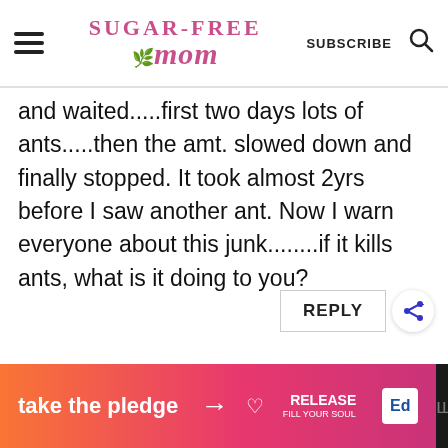[Figure (logo): Sugar-Free Mom website logo with hamburger menu, SUBSCRIBE text, and search icon in header]
and waited.....first two days lots of ants.....then the amt. slowed down and finally stopped. It took almost 2yrs before I saw another ant. Now I warn everyone about this junk........if it kills ants, what is it doing to you?
[Figure (other): Reply button with share icon]
[Figure (other): Take the pledge advertisement banner with Release and Ed logos]